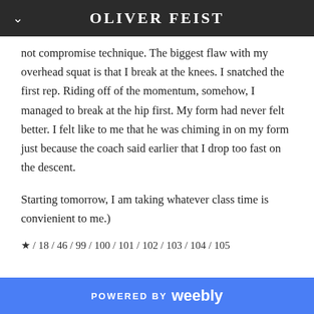OLIVER FEIST
not compromise technique. The biggest flaw with my overhead squat is that I break at the knees. I snatched the first rep. Riding off of the momentum, somehow, I managed to break at the hip first. My form had never felt better. I felt like to me that he was chiming in on my form just because the coach said earlier that I drop too fast on the descent.
Starting tomorrow, I am taking whatever class time is convienient to me.)
★ / 18 / 46 / 99 / 100 / 101 / 102 / 103 / 104 / 105
POWERED BY weebly